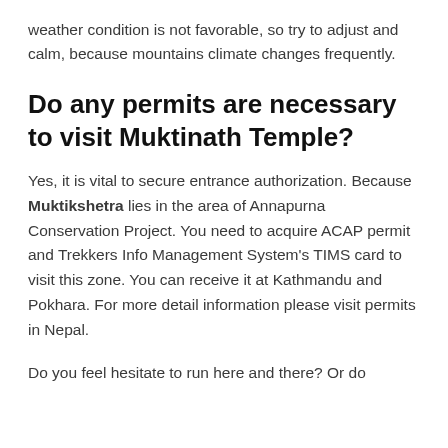weather condition is not favorable, so try to adjust and calm, because mountains climate changes frequently.
Do any permits are necessary to visit Muktinath Temple?
Yes, it is vital to secure entrance authorization. Because Muktikshetra lies in the area of Annapurna Conservation Project. You need to acquire ACAP permit and Trekkers Info Management System's TIMS card to visit this zone. You can receive it at Kathmandu and Pokhara. For more detail information please visit permits in Nepal.
Do you feel hesitate to run here and there? Or do